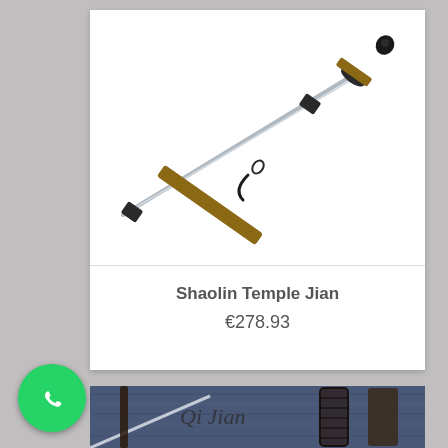[Figure (photo): A Chinese Jian sword with wooden scabbard, shown diagonally against a white background. The sword blade extends from upper right to lower left, with a black pommel and guard, brown wooden handle and scabbard.]
Shaolin Temple Jian
€278.93
[Figure (photo): Close-up product photo of a Qi Jian Chinese sword on a blue wood-grain background, showing wrapped handle, blade, and leather scabbard. Text 'Qi Jian' in cursive script visible.]
[Figure (logo): WhatsApp logo: green circle with white phone handset icon]